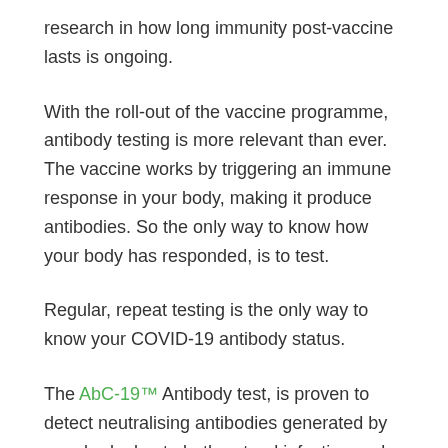research in how long immunity post-vaccine lasts is ongoing.
With the roll-out of the vaccine programme, antibody testing is more relevant than ever. The vaccine works by triggering an immune response in your body, making it produce antibodies. So the only way to know how your body has responded, is to test.
Regular, repeat testing is the only way to know your COVID-19 antibody status.
The AbC-19™ Antibody test, is proven to detect neutralising antibodies generated by your body due to both natural infection and from vaccination. If you are know the